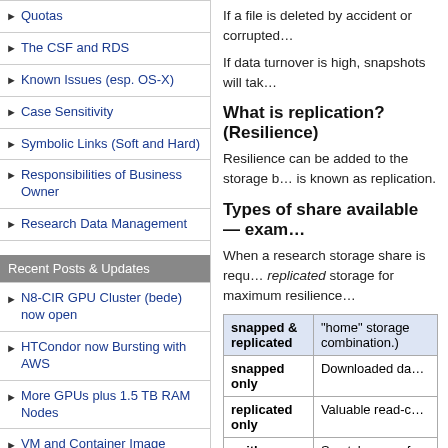Quotas
The CSF and RDS
Known Issues (esp. OS-X)
Case Sensitivity
Symbolic Links (Soft and Hard)
Responsibilities of Business Owner
Research Data Management
Recent Posts & Updates
N8-CIR GPU Cluster (bede) now open
HTCondor now Bursting with AWS
More GPUs plus 1.5 TB RAM Nodes
VM and Container Image Library
More University investment in compute resources — your input required!
View all...
If a file is deleted by accident or corrupted…
If data turnover is high, snapshots will tak…
What is replication? (Resilience)
Resilience can be added to the storage b… is known as replication.
Types of share available — exam…
When a research storage share is requ… replicated storage for maximum resilience…
|  |  |
| --- | --- |
| snapped & replicated | "home" storage combination.) |
| snapped only | Downloaded da… |
| replicated only | Valuable read-c… |
| neither | Scratch space f… |
Is Isilon storage backed up?
Research data storage is not backed up… above) and use of snapshots means that…
Last modified on December 4, 2019 at 2:21 pm by…